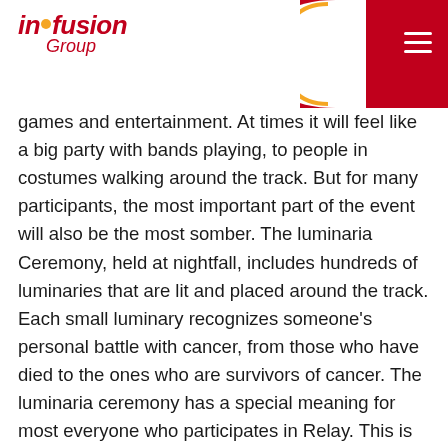in•fusion Group
games and entertainment. At times it will feel like a big party with bands playing, to people in costumes walking around the track. But for many participants, the most important part of the event will also be the most somber. The luminaria Ceremony, held at nightfall, includes hundreds of luminaries that are lit and placed around the track. Each small luminary recognizes someone's personal battle with cancer, from those who have died to the ones who are survivors of cancer. The luminaria ceremony has a special meaning for most everyone who participates in Relay. This is the part that is the most special to me.